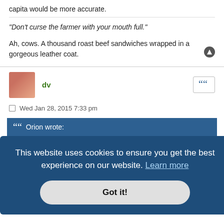capita would be more accurate.
"Don't curse the farmer with your mouth full."
Ah, cows. A thousand roast beef sandwiches wrapped in a gorgeous leather coat.
dv
Wed Jan 28, 2015 7:33 pm
Orion wrote:
[Figure (screenshot): Partial bar chart showing South Africa with value 96, partially obscured by cookie consent overlay]
This website uses cookies to ensure you get the best experience on our website. Learn more
Got it!